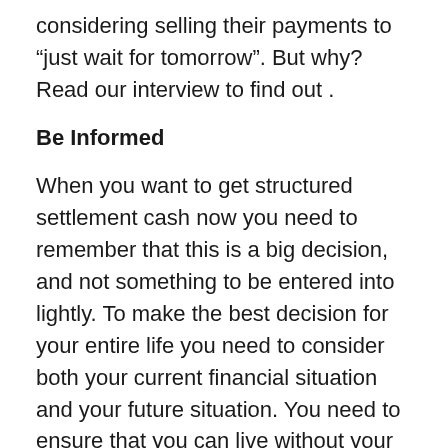considering selling their payments to “just wait for tomorrow”. But why? Read our interview to find out .
Be Informed
When you want to get structured settlement cash now you need to remember that this is a big decision, and not something to be entered into lightly. To make the best decision for your entire life you need to consider both your current financial situation and your future situation. You need to ensure that you can live without your future payments, that you truly have a need, and that selling your payments won’t put you in a bad position further down the line. To learn